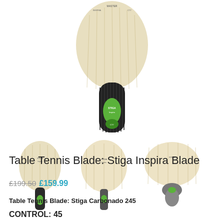[Figure (photo): Main product photo of a Stiga Inspira table tennis blade shown from the back, with a black grip featuring a green oval logo, and the wooden blade face showing at the top.]
[Figure (photo): Three thumbnail images of Stiga Inspira table tennis blades shown from different angles: flare handle, straight handle, and penhold/compact handle variants.]
Table Tennis Blade: Stiga Inspira Blade
£199.50 £159.99
Table Tennis Blade: Stiga Carbonado 245
CONTROL: 45